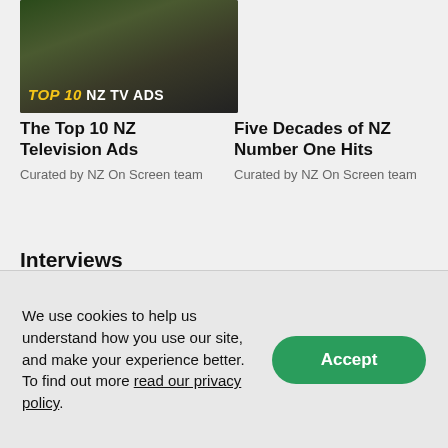[Figure (photo): Thumbnail image for 'Top 10 NZ TV Ads' playlist with text overlay]
The Top 10 NZ Television Ads
Curated by NZ On Screen team
Five Decades of NZ Number One Hits
Curated by NZ On Screen team
Interviews
[Figure (photo): Interview thumbnail placeholder with clock icon]
[Figure (photo): Interview thumbnail placeholder with clock icon]
We use cookies to help us understand how you use our site, and make your experience better. To find out more read our privacy policy.